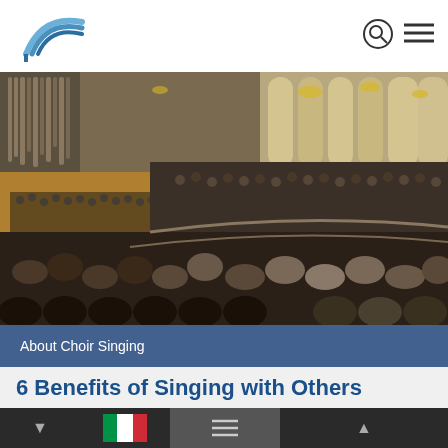INTERKULTUR
[Figure (photo): Large concert hall filled with choir performers and audience, ornate baroque-style interior with arched windows and chandeliers, viewed from behind the audience]
About Choir Singing
6 Benefits of Singing with Others
6 reasons why you should consider joining a Sing Along Concert